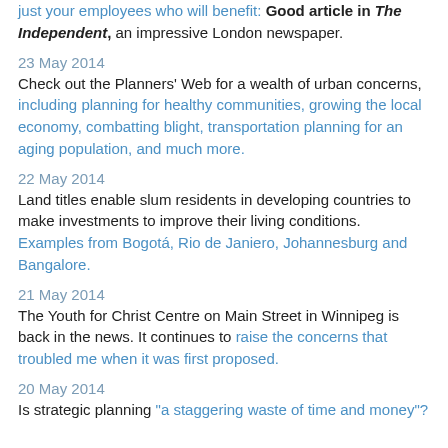just your employees who will benefit: Good article in The Independent, an impressive London newspaper.
23 May 2014
Check out the Planners' Web for a wealth of urban concerns, including planning for healthy communities, growing the local economy, combatting blight, transportation planning for an aging population, and much more.
22 May 2014
Land titles enable slum residents in developing countries to make investments to improve their living conditions. Examples from Bogotá, Rio de Janiero, Johannesburg and Bangalore.
21 May 2014
The Youth for Christ Centre on Main Street in Winnipeg is back in the news. It continues to raise the concerns that troubled me when it was first proposed.
20 May 2014
Is strategic planning "a staggering waste of time and money"?